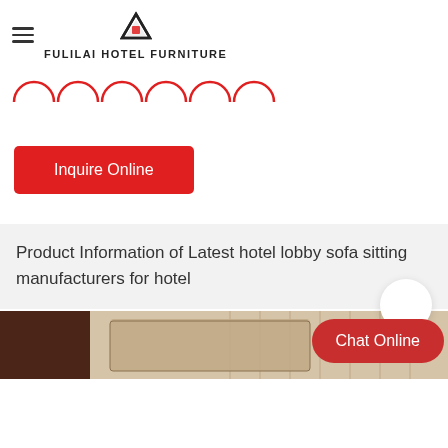FULILAI HOTEL FURNITURE
[Figure (illustration): Six red semicircle arc shapes arranged in a horizontal row, each with red outline open at the bottom]
Inquire Online
Product Information of Latest hotel lobby sofa sitting manufacturers for hotel
[Figure (photo): Partial view of a hotel lobby sofa with patterned fabric upholstery against a striped background]
Chat Online